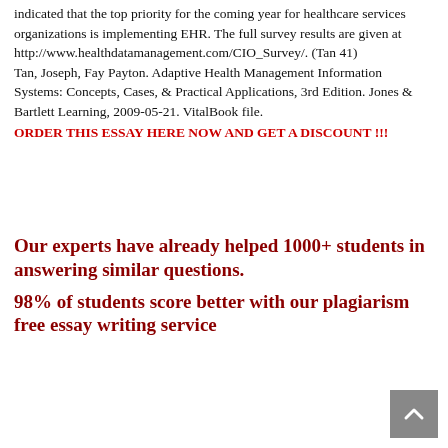indicated that the top priority for the coming year for healthcare services organizations is implementing EHR. The full survey results are given at http://www.healthdatamanagement.com/CIO_Survey/. (Tan 41)
Tan, Joseph, Fay Payton. Adaptive Health Management Information Systems: Concepts, Cases, & Practical Applications, 3rd Edition. Jones & Bartlett Learning, 2009-05-21. VitalBook file.
ORDER THIS ESSAY HERE NOW AND GET A DISCOUNT !!!
Our experts have already helped 1000+ students in answering similar questions.
98% of students score better with our plagiarism free essay writing service